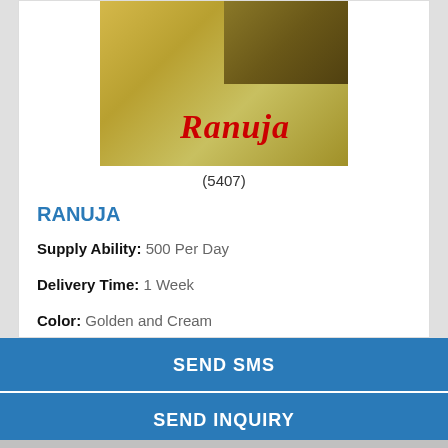[Figure (photo): Product photo showing golden and cream colored fabric/sarees with 'Ranuja' text watermark in red]
(5407)
RANUJA
Supply Ability: 500 Per Day
Delivery Time: 1 Week
Color: Golden and Cream
Attributes: Fast Colors, Quick Dry, Washable, Light in
SEND SMS
SEND INQUIRY